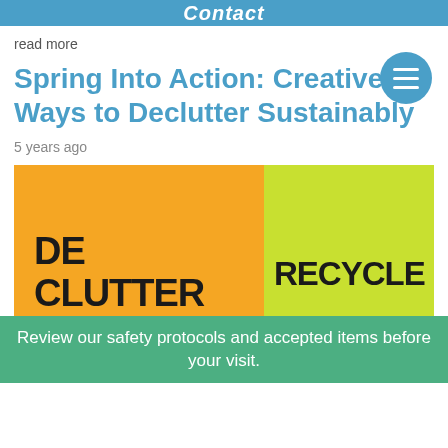Contact
read more
Spring Into Action: Creative Ways to Declutter Sustainably
5 years ago
[Figure (photo): Two crumpled sticky notes side by side — a yellow one with 'DE CLUTTER' written in bold black handwritten text and underlined, and a green-yellow one with 'RECYCLE' in bold black handwritten text.]
Review our safety protocols and accepted items before your visit.